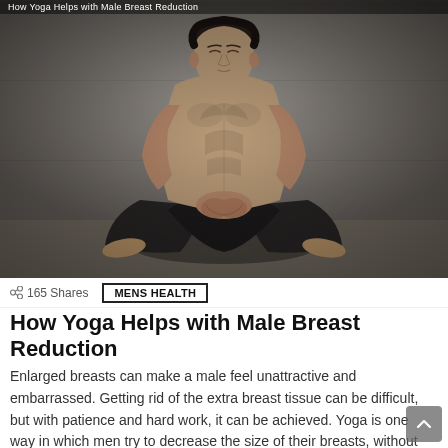How Yoga Helps with Male Breast Reduction
[Figure (photo): A shirtless muscular young man sitting cross-legged in a meditation pose against a gray concrete wall background]
165 Shares
MENS HEALTH
How Yoga Helps with Male Breast Reduction
Enlarged breasts can make a male feel unattractive and embarrassed. Getting rid of the extra breast tissue can be difficult, but with patience and hard work, it can be achieved. Yoga is one way in which men try to decrease the size of their breasts, without having an invasive or cosmetic procedure